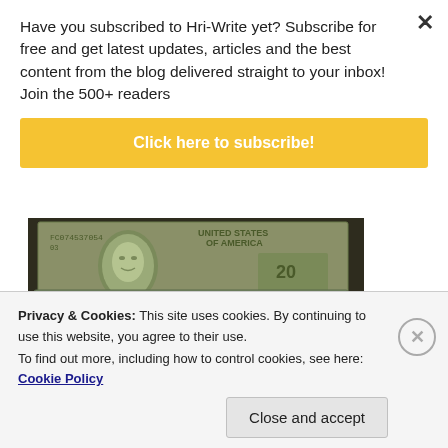Have you subscribed to Hri-Write yet? Subscribe for free and get latest updates, articles and the best content from the blog delivered straight to your inbox! Join the 500+ readers
Click here to subscribe!
[Figure (photo): Photograph of US dollar bills being fanned out, showing $50 and $100 bills in a counting machine or hand]
Privacy & Cookies: This site uses cookies. By continuing to use this website, you agree to their use.
To find out more, including how to control cookies, see here: Cookie Policy
Close and accept